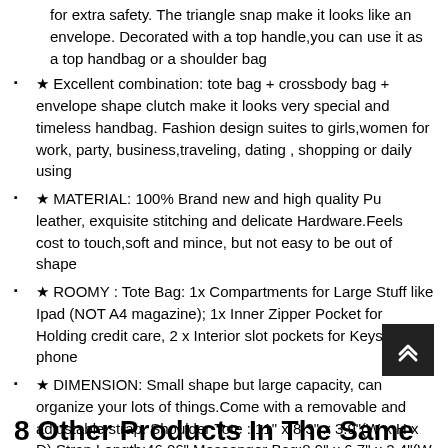for extra safety. The triangle snap make it looks like an envelope. Decorated with a top handle,you can use it as a top handbag or a shoulder bag
★ Excellent combination: tote bag + crossbody bag + envelope shape clutch make it looks very special and timeless handbag. Fashion design suites to girls,women for work, party, business,traveling, dating , shopping or daily using
★ MATERIAL: 100% Brand new and high quality Pu leather, exquisite stitching and delicate Hardware.Feels cost to touch,soft and mince, but not easy to be out of shape
★ ROOMY : Tote Bag: 1x Compartments for Large Stuff like Ipad (NOT A4 magazine); 1x Inner Zipper Pocket for Holding credit care, 2 x Interior slot pockets for Keys or phone
★ DIMENSION: Small shape but large capacity, can organize your lots of things.Come with a removable and adjustable strap. Shoulder Tote : 11" x 8.3" x 3.9"(W x H x D) Strap Length:46.06" Messenger Bag:8.9" x 6.7" x 2.4"(W x H x D) Wallet Clutch:7.7" x 4.1"(W x H)
8 Other Products In The Same